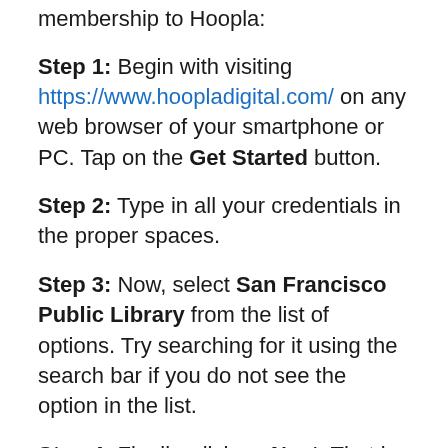membership to Hoopla:
Step 1: Begin with visiting https://www.hoopladigital.com/ on any web browser of your smartphone or PC. Tap on the Get Started button.
Step 2: Type in all your credentials in the proper spaces.
Step 3: Now, select San Francisco Public Library from the list of options. Try searching for it using the search bar if you do not see the option in the list.
Step 4: Finally, click on Next. That is all